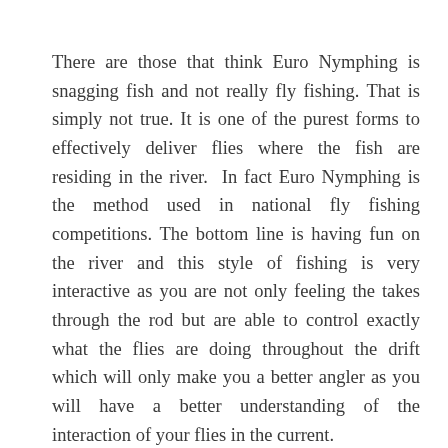There are those that think Euro Nymphing is snagging fish and not really fly fishing. That is simply not true. It is one of the purest forms to effectively deliver flies where the fish are residing in the river.  In fact Euro Nymphing is the method used in national fly fishing competitions. The bottom line is having fun on the river and this style of fishing is very interactive as you are not only feeling the takes through the rod but are able to control exactly what the flies are doing throughout the drift which will only make you a better angler as you will have a better understanding of the interaction of your flies in the current.